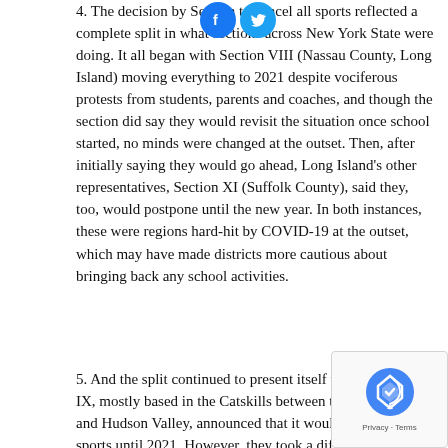4. The decision by Section to cancel all sports reflected a complete split in what sections across New York State were doing. It all began with Section VIII (Nassau County, Long Island) moving everything to 2021 despite vociferous protests from students, parents and coaches, and though the section did say they would revisit the situation once school started, no minds were changed at the outset. Then, after initially saying they would go ahead, Long Island's other representatives, Section XI (Suffolk County), said they, too, would postpone until the new year. In both instances, these were regions hard-hit by COVID-19 at the outset, which may have made districts more cautious about bringing back any school activities.
5. And the split continued to present itself when Section IX, mostly based in the Catskills between the Southern Tier and Hudson Valley, announced that it would also shelve sports until 2021. However, they took a different approach in Section I (lower Hudson Valley), pushing back the start until September still planning to play, a similar plan to what was going